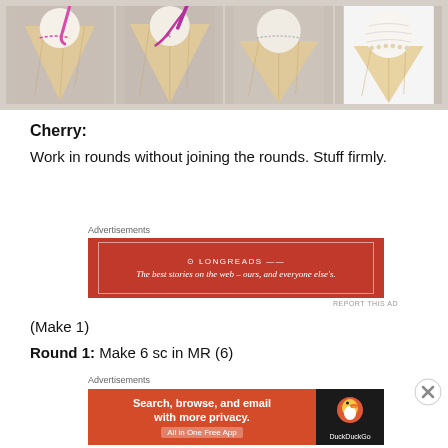[Figure (photo): Four-step photo tutorial showing crochet ice cream cone assembly: attaching a white crocheted ball to a beige crocheted cone using a purple crochet hook, then the finished piece.]
Cherry:
Work in rounds without joining the rounds. Stuff firmly.
Advertisements
[Figure (screenshot): Longreads advertisement: red background with white text reading 'The best stories on the web – ours, and everyone else's.']
REPORT THIS AD
(Make 1)
Round 1: Make 6 sc in MR (6)
Advertisements
[Figure (screenshot): DuckDuckGo advertisement: orange-red background with white text 'Search, browse, and email with more privacy. All in One Free App' and DuckDuckGo duck logo on dark background.]
REPORT THIS AD